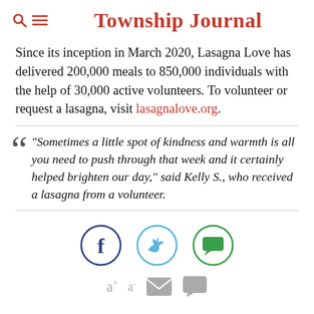Township Journal
Since its inception in March 2020, Lasagna Love has delivered 200,000 meals to 850,000 individuals with the help of 30,000 active volunteers. To volunteer or request a lasagna, visit lasagnalove.org.
“Sometimes a little spot of kindness and warmth is all you need to push through that week and it certainly helped brighten our day,” said Kelly S., who received a lasagna from a volunteer.
[Figure (infographic): Social sharing icons: Facebook (dark blue circle outline with f), Twitter (light blue circle outline with bird), green circle outline with speech bubble icon. Below: a+ a- font size controls, email envelope icon, comment bubble icon, all in grey.]